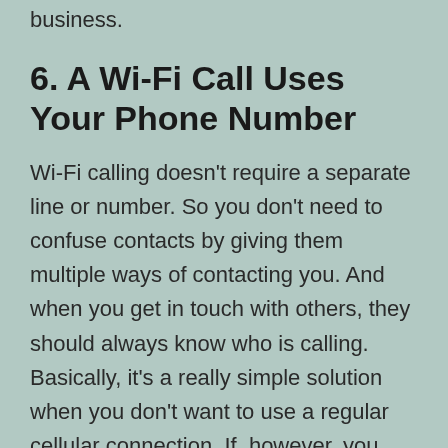business.
6. A Wi-Fi Call Uses Your Phone Number
Wi-Fi calling doesn't require a separate line or number. So you don't need to confuse contacts by giving them multiple ways of contacting you. And when you get in touch with others, they should always know who is calling. Basically, it's a really simple solution when you don't want to use a regular cellular connection. If, however, you want a dedicated number, there are apps that give you a phone number.